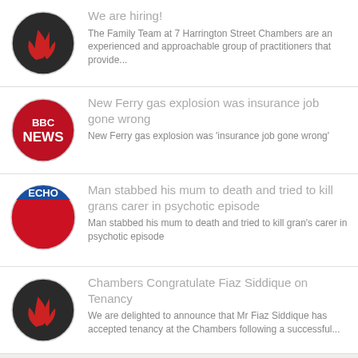We are hiring! — The Family Team at 7 Harrington Street Chambers are an experienced and approachable group of practitioners that provide...
New Ferry gas explosion was insurance job gone wrong — New Ferry gas explosion was 'insurance job gone wrong'
Man stabbed his mum to death and tried to kill grans carer in psychotic episode — Man stabbed his mum to death and tried to kill gran's carer in psychotic episode
Chambers Congratulate Fiaz Siddique on Tenancy — We are delighted to announce that Mr Fiaz Siddique has accepted tenancy at the Chambers following a successful...